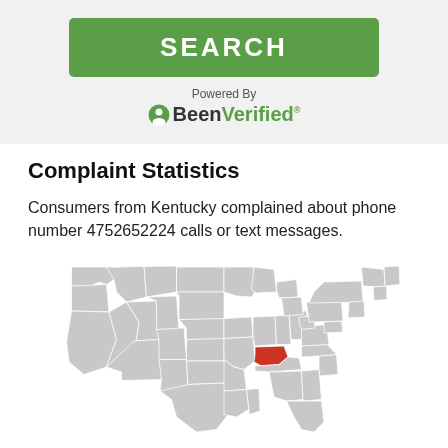[Figure (other): SEARCH button widget powered by BeenVerified]
Complaint Statistics
Consumers from Kentucky complained about phone number 4752652224 calls or text messages.
[Figure (map): Map of the United States with Kentucky highlighted in red/orange]